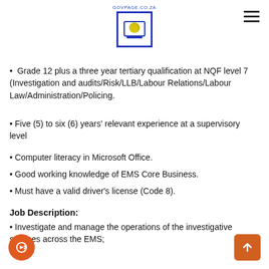GOVPAGE.CO.ZA
Grade 12 plus a three year tertiary qualification at NQF level 7 (Investigation and audits/Risk/LLB/Labour Relations/Labour Law/Administration/Policing.
Five (5) to six (6) years' relevant experience at a supervisory level
Computer literacy in Microsoft Office.
Good working knowledge of EMS Core Business.
Must have a valid driver's license (Code 8).
Job Description:
Investigate and manage the operations of the investigative services across the EMS;
Supervision and management of subordinates;
Manage the investigation into the misconduct of officials in the department;
Manage the investigation of grievances of officials within the department;